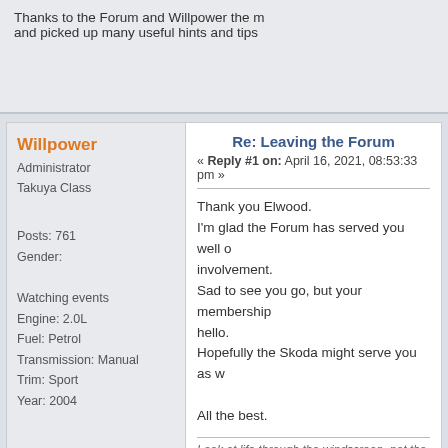Thanks to the Forum and Willpower the m and picked up many useful hints and tips
Willpower
Administrator
Takuya Class
Posts: 761
Gender:
Watching events
Engine: 2.0L
Fuel: Petrol
Transmission: Manual
Trim: Sport
Year: 2004
Re: Leaving the Forum
« Reply #1 on: April 16, 2021, 08:53:33 pm »
Thank you Elwood.
I'm glad the Forum has served you well o involvement.
Sad to see you go, but your membership hello.
Hopefully the Skoda might serve you as w

All the best.
Look at life through the windscreen, not the rearv
Pages: [1]  Go Up
Mazda 6 Forums UK » General Category » I've just got/sold my Mazda 6 » Leaving the F